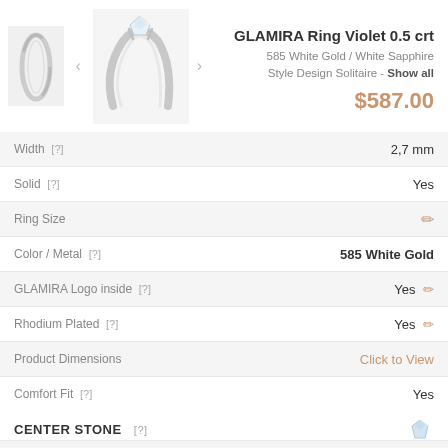[Figure (photo): Product images of GLAMIRA Ring Violet 0.5 crt - two thumbnail views of a white gold solitaire ring]
GLAMIRA Ring Violet 0.5 crt
585 White Gold / White Sapphire
Style Design Solitaire - Show all
$587.00
| Property | Value |
| --- | --- |
| Width [?] | 2,7 mm |
| Solid [?] | Yes |
| Ring Size | ✏ |
| Color / Metal [?] | 585 White Gold |
| GLAMIRA Logo inside [?] | Yes ✏ |
| Rhodium Plated [?] | Yes ✏ |
| Product Dimensions | Click to View |
| Comfort Fit [?] | Yes |
| Average Weight [?] | ≈ 2.85 Grams |
CENTER STONE [?]
| Property | Value |
| --- | --- |
| Stone | White Sapphire |